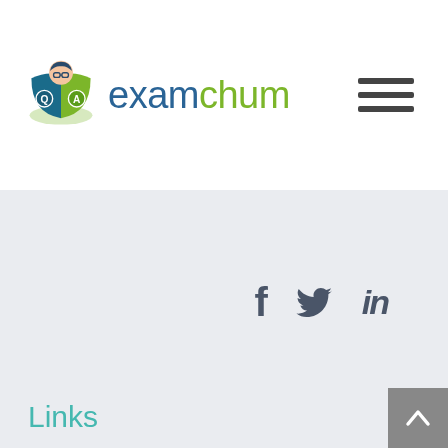[Figure (logo): ExamChum logo with cartoon student reading a book with Q and A labels, followed by the text 'examchum' in blue and green]
[Figure (illustration): Hamburger menu icon with three horizontal bars]
[Figure (illustration): Social media icons: Facebook f, Twitter bird, LinkedIn in, displayed in dark grey on light grey footer background]
Links
[Figure (illustration): Grey scroll-to-top button with upward chevron arrow in bottom right corner]